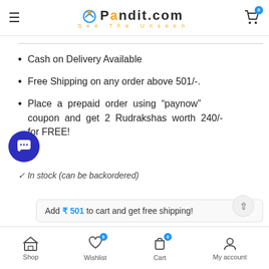Pandit.com — See The Unseen
Cash on Delivery Available
Free Shipping on any order above 501/-.
Place a prepaid order using “paynow” coupon and get 2 Rudrakshas worth 240/- for FREE!
Add ₹ 501 to cart and get free shipping!
In stock (can be backordered)
Shop  Wishlist 0  Cart 0  My account